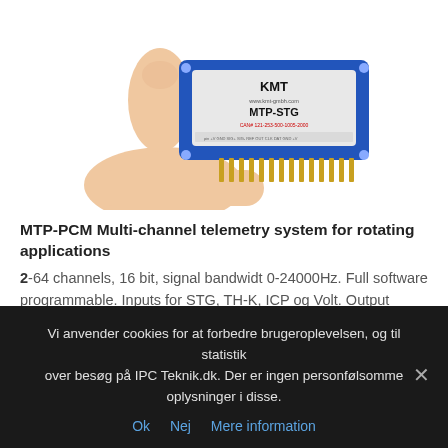[Figure (photo): A hand holding a KMT MTP-STG electronic module/circuit board with blue casing and gold pins at the bottom. The module label reads 'KMT www.kmt-gmbh.com MTP-STG CAN# 121-253-500-1005-2000'.]
MTP-PCM Multi-channel telemetry system for rotating applications
2-64 channels, 16 bit, signal bandwidt 0-24000Hz. Full software programmable. Inputs for STG, TH-K, ICP og Volt. Output analog +/- 10 V Digital data interface to PC. Inductive or battery power
[Figure (illustration): PDF icon (red and white)]
Vi anvender cookies for at forbedre brugeroplevelsen, og til statistik over besøg på IPC Teknik.dk. Der er ingen personfølsomme oplysninger i disse.
Ok   Nej   Mere information